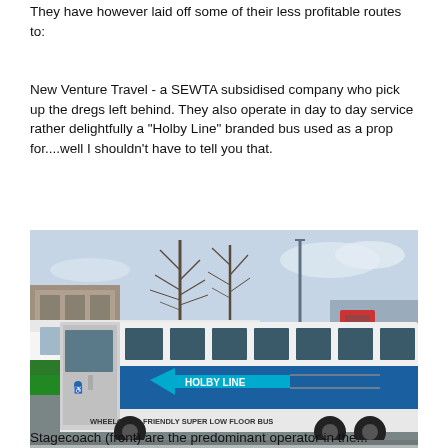They have however laid off some of their less profitable routes to:
New Venture Travel - a SEWTA subsidised company who pick up the dregs left behind. They also operate in day to day service rather delightfully a "Holby Line" branded bus used as a prop for....well I shouldn't have to tell you that.
[Figure (photo): Photo of a blue and white 'Holby Line' branded bus (wheelchair friendly super low floor bus) parked at a bus station, with a green and white bus visible behind it, bare trees and buildings in the background, and metal railings in the foreground.]
Stagecoach (front) are the predominant operator in the...